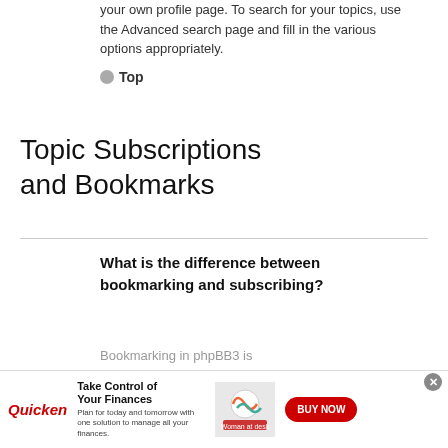your own profile page. To search for your topics, use the Advanced search page and fill in the various options appropriately.
Top
Topic Subscriptions and Bookmarks
What is the difference between bookmarking and subscribing?
Bookmarking in phpBB3 is
[Figure (infographic): Quicken advertisement banner: 'Take Control of Your Finances. Plan for today and tomorrow with one solution to manage all your finances.' with a BUY NOW button and a woman working on finances image.]